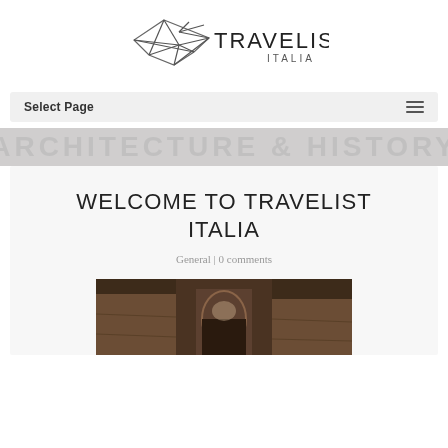[Figure (logo): Travelist Italia logo with geometric bird/arrow shape and stylized text]
Select Page
[Figure (screenshot): Banner background with faded large text showing a street/architecture scene]
WELCOME TO TRAVELIST ITALIA
General | 0 comments
[Figure (photo): Sepia-toned photograph of a narrow medieval Italian alleyway with stone arches and old buildings]